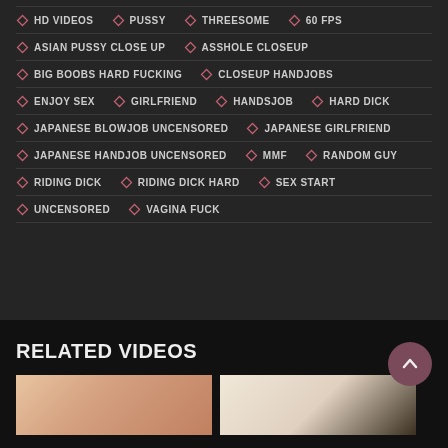HD VIDEOS | PUSSY | THREESOME | 60 FPS
ASIAN PUSSY CLOSE UP | ASSHOLE CLOSEUP
BIG BOOBS HARD FUCKING | CLOSEUP HANDJOBS
ENJOY SEX | GIRLFRIEND | HANDSJOB | HARD DICK
JAPANESE BLOWJOB UNCENSORED | JAPANESE GIRLFRIEND
JAPANESE HANDJOB UNCENSORED | MMF | RANDOM GUY
RIDING DICK | RIDING DICK HARD | SEX START
UNCENSORED | VAGINA FUCK
RELATED VIDEOS
[Figure (photo): Two video thumbnails for related videos section]